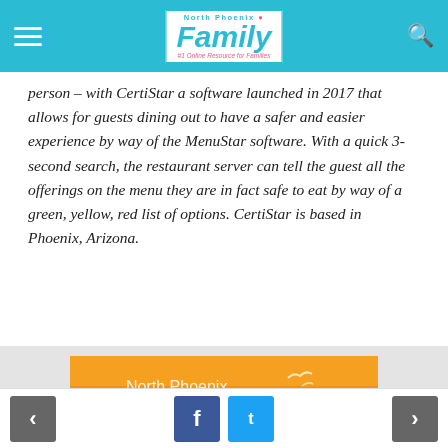North Phoenix Family — #1 Online Resource for Families
person – with CertiStar a software launched in 2017 that allows for guests dining out to have a safer and easier experience by way of the MenuStar software. With a quick 3-second search, the restaurant server can tell the guest all the offerings on the menu they are in fact safe to eat by way of a green, yellow, red list of options. CertiStar is based in Phoenix, Arizona.
[Figure (illustration): North Phoenix Family magazine cover — July 2021, orange gradient background with white bird silhouettes and large italic 'Family' text]
Navigation: previous, Facebook share, Twitter share, next